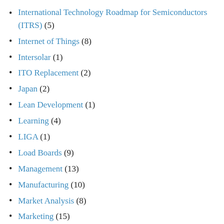International Technology Roadmap for Semiconductors (ITRS) (5)
Internet of Things (8)
Intersolar (1)
ITO Replacement (2)
Japan (2)
Lean Development (1)
Learning (4)
LIGA (1)
Load Boards (9)
Management (13)
Manufacturing (10)
Market Analysis (8)
Marketing (15)
Medical Devices (5)
Memory Technology (1)